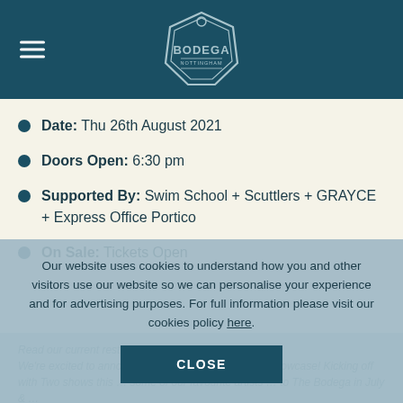BODEGA NOTTINGHAM
Date: Thu 26th August 2021
Doors Open: 6:30 pm
Supported By: Swim School + Scuttlers + GRAYCE + Express Office Portico
On Sale: Tickets Open
Our website uses cookies to understand how you and other visitors use our website so we can personalise your experience and for advertising purposes. For full information please visit our cookies policy here.
CLOSE